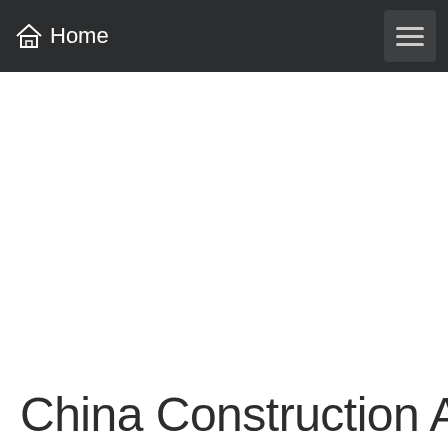Home
China Construction America